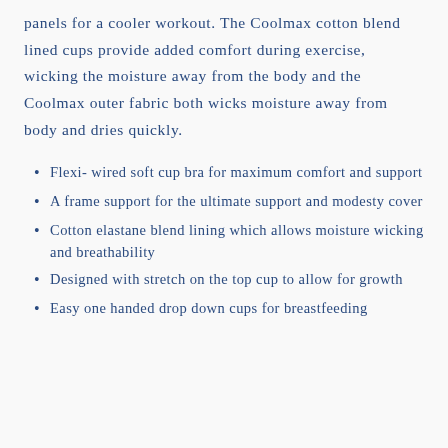panels for a cooler workout. The Coolmax cotton blend lined cups provide added comfort during exercise, wicking the moisture away from the body and the Coolmax outer fabric both wicks moisture away from body and dries quickly.
Flexi- wired soft cup bra for maximum comfort and support
A frame support for the ultimate support and modesty cover
Cotton elastane blend lining which allows moisture wicking and breathability
Designed with stretch on the top cup to allow for growth
Easy one handed drop down cups for breastfeeding